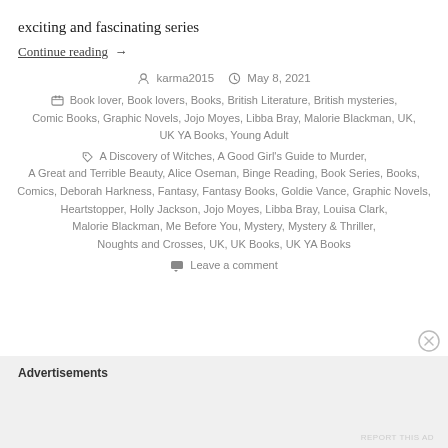exciting and fascinating series
Continue reading →
karma2015  May 8, 2021
Book lover, Book lovers, Books, British Literature, British mysteries, Comic Books, Graphic Novels, Jojo Moyes, Libba Bray, Malorie Blackman, UK, UK YA Books, Young Adult
A Discovery of Witches, A Good Girl's Guide to Murder, A Great and Terrible Beauty, Alice Oseman, Binge Reading, Book Series, Books, Comics, Deborah Harkness, Fantasy, Fantasy Books, Goldie Vance, Graphic Novels, Heartstopper, Holly Jackson, Jojo Moyes, Libba Bray, Louisa Clark, Malorie Blackman, Me Before You, Mystery, Mystery & Thriller, Noughts and Crosses, UK, UK Books, UK YA Books
Leave a comment
Advertisements
REPORT THIS AD